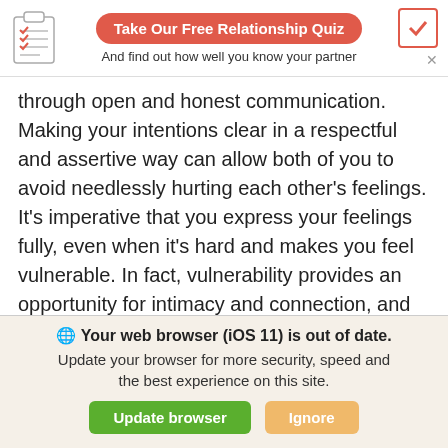[Figure (infographic): Clipboard icon with checklist]
Take Our Free Relationship Quiz
And find out how well you know your partner
through open and honest communication. Making your intentions clear in a respectful and assertive way can allow both of you to avoid needlessly hurting each other's feelings. It's imperative that you express your feelings fully, even when it's hard and makes you feel vulnerable. In fact, vulnerability provides an opportunity for intimacy and connection, and instead of vilifying each other, the two of you can become a team, able to soothe and comfort one another.

When you are a team, you create solidarity in your
Your web browser (iOS 11) is out of date. Update your browser for more security, speed and the best experience on this site.